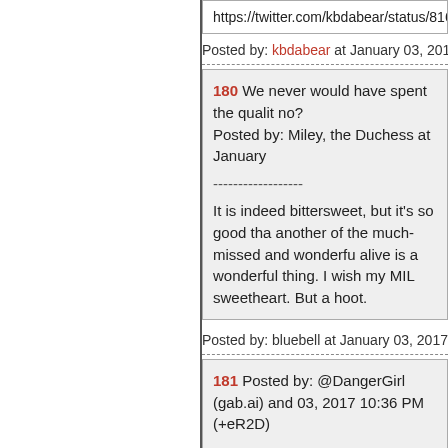https://twitter.com/kbdabear/status/81634...
Posted by: kbdabear at January 03, 2017 10:42 PM
180 We never would have spent the quality time... no?
Posted by: Miley, the Duchess at January ...
It is indeed bittersweet, but it's so good that another of the much-missed and wonderful... alive is a wonderful thing. I wish my MIL... sweetheart. But a hoot.
Posted by: bluebell at January 03, 2017 10:42 PM
181 Posted by: @DangerGirl (gab.ai) and 03, 2017 10:36 PM (+eR2D)

No - I know plenty of women who have s... small tasteful ones are fine for those who... Head Girl or the woman in the ONT pic a...